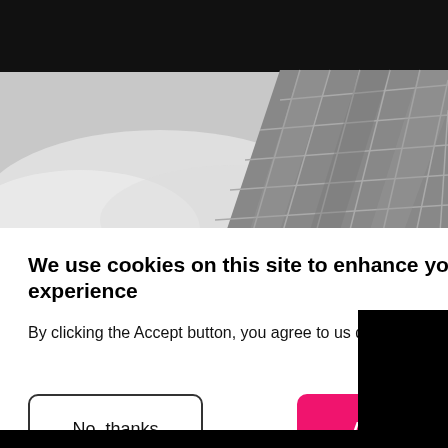[Figure (photo): Black and white photograph of a modern glass-facade building shot from below at an angle, with cloudy sky visible on the left side.]
We use cookies on this site to enhance your user experience
By clicking the Accept button, you agree to us doing so.
More info
No, thanks
Accept